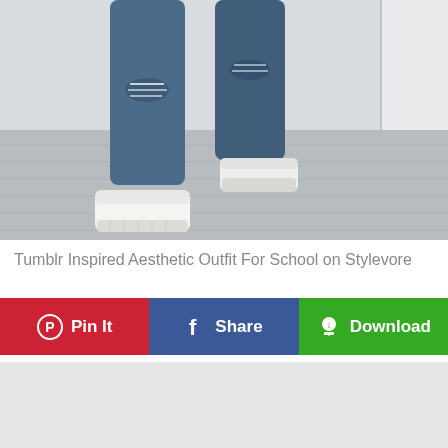[Figure (photo): Photo of a person wearing ripped blue jeans and white chunky sneakers, sitting in a chair, with grey wooden floor in background]
Tumblr Inspired Aesthetic Outfit For School on Stylevore
[Figure (infographic): Three social sharing buttons: red 'Pin It' button with Pinterest icon, blue 'Share' button with Facebook icon, green 'Download' button with download icon]
[Figure (other): Light grey panel at the bottom of the page, likely an advertisement placeholder]